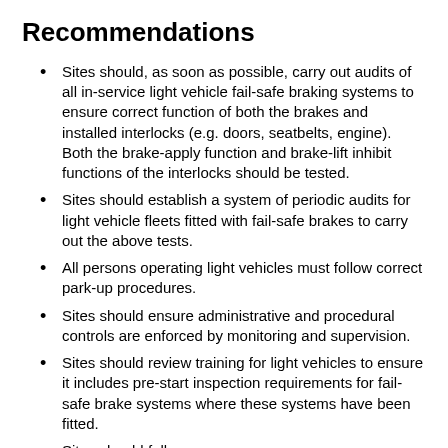Recommendations
Sites should, as soon as possible, carry out audits of all in-service light vehicle fail-safe braking systems to ensure correct function of both the brakes and installed interlocks (e.g. doors, seatbelts, engine). Both the brake-apply function and brake-lift inhibit functions of the interlocks should be tested.
Sites should establish a system of periodic audits for light vehicle fleets fitted with fail-safe brakes to carry out the above tests.
All persons operating light vehicles must follow correct park-up procedures.
Sites should ensure administrative and procedural controls are enforced by monitoring and supervision.
Sites should review training for light vehicles to ensure it includes pre-start inspection requirements for fail-safe brake systems where these systems have been fitted.
Sites should follow...